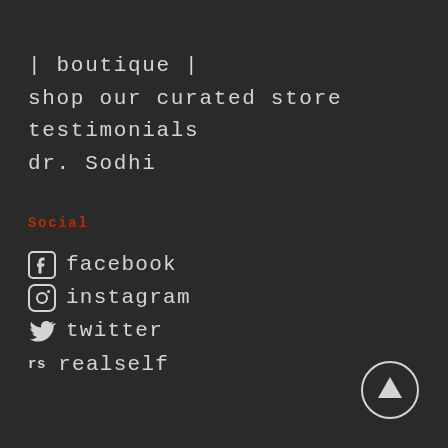| boutique |
shop our curated store
testimonials
dr. Sodhi
Social
facebook
instagram
twitter
rs realself
[Figure (illustration): Back to top button: circle with upward arrow]